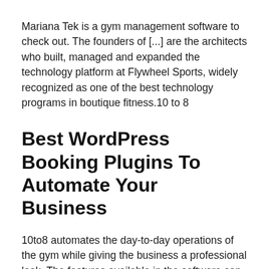Mariana Tek is a gym management software to check out. The founders of [...] are the architects who built, managed and expanded the technology platform at Flywheel Sports, widely recognized as one of the best technology programs in boutique fitness.10 to 8
Best WordPress Booking Plugins To Automate Your Business
10to8 automates the day-to-day operations of the gym while giving the business a professional look. The features available in the software can be useful for a fitness center of any size. This is a particularly